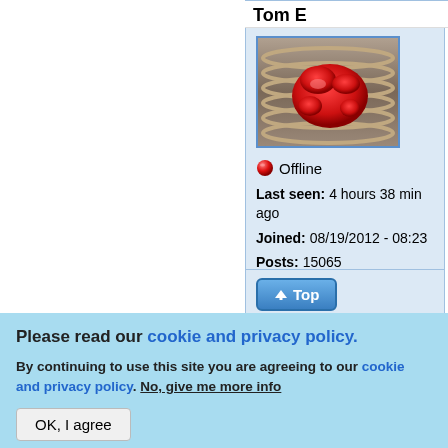Tom E
[Figure (photo): Avatar image showing a red 3D-printed object (blob/octopus shape) on a metallic coiled spring background]
🔴 Offline
Last seen: 4 hours 38 min ago
Joined: 08/19/2012 - 08:23
Posts: 15065
Location: LI NY
Slim - cou... why ThruN... kapton tap... typical use... it safe and... wouldn't in... would thin... who know... design/pro... manufactu...
↑ Top
Please read our cookie and privacy policy.
By continuing to use this site you are agreeing to our cookie and privacy policy. No, give me more info
OK, I agree